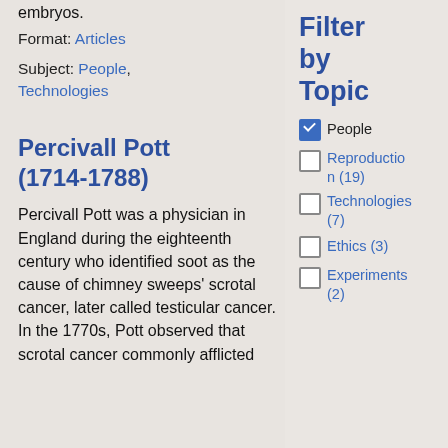embryos.
Format: Articles
Subject: People, Technologies
Percivall Pott (1714-1788)
Percivall Pott was a physician in England during the eighteenth century who identified soot as the cause of chimney sweeps' scrotal cancer, later called testicular cancer. In the 1770s, Pott observed that scrotal cancer commonly afflicted chimney sweeps...
Filter by Topic
People (checked)
Reproduction (19)
Technologies (7)
Ethics (3)
Experiments (2)